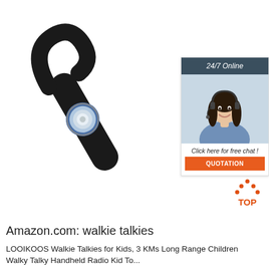[Figure (photo): Close-up photo of a black Bluetooth earpiece/headset with a circular silver and blue earbud tip and black hook, on a white background]
[Figure (infographic): Chat widget advertisement with dark teal header reading '24/7 Online', photo of smiling female customer service agent wearing headset, text 'Click here for free chat!', and orange 'QUOTATION' button]
[Figure (logo): Orange 'TOP' arrow logo with dots forming a triangle/arrow pointing up above the word TOP in orange]
Amazon.com: walkie talkies
LOOIKOOS Walkie Talkies for Kids, 3 KMs Long Range Children Walky Talky Handheld Radio Kid To...